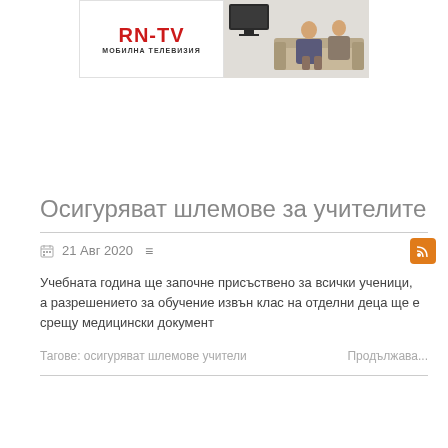[Figure (photo): RN-TV advertisement banner with logo on left and photo of people on couch on right]
[Figure (logo): RSS feed orange icon button]
Осигуряват шлемове за учителите
21 Авг 2020
Учебната година ще започне присъствено за всички ученици, а разрешението за обучение извън клас на отделни деца ще е срещу медицински документ
Тагове: осигуряват шлемове учители
Продължава...